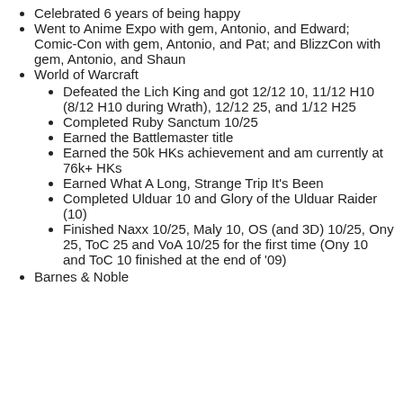Celebrated 6 years of being happy
Went to Anime Expo with gem, Antonio, and Edward; Comic-Con with gem, Antonio, and Pat; and BlizzCon with gem, Antonio, and Shaun
World of Warcraft
Defeated the Lich King and got 12/12 10, 11/12 H10 (8/12 H10 during Wrath), 12/12 25, and 1/12 H25
Completed Ruby Sanctum 10/25
Earned the Battlemaster title
Earned the 50k HKs achievement and am currently at 76k+ HKs
Earned What A Long, Strange Trip It's Been
Completed Ulduar 10 and Glory of the Ulduar Raider (10)
Finished Naxx 10/25, Maly 10, OS (and 3D) 10/25, Ony 25, ToC 25 and VoA 10/25 for the first time (Ony 10 and ToC 10 finished at the end of '09)
Barnes & Noble